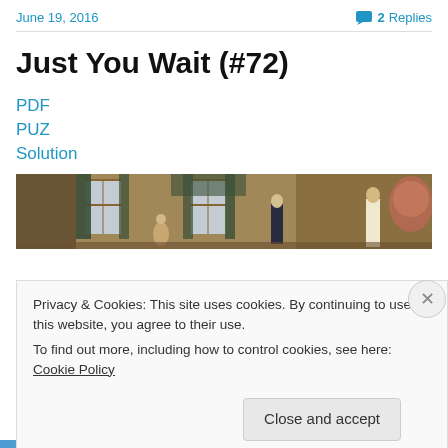June 19, 2016    💬 2 Replies
Just You Wait (#72)
PDF
PUZ
Solution
[Figure (photo): A wide horizontal painting-style illustration featuring historical figures in an interior setting with windows and drapery, resembling a scene from the American founding era.]
Privacy & Cookies: This site uses cookies. By continuing to use this website, you agree to their use.
To find out more, including how to control cookies, see here: Cookie Policy
Close and accept